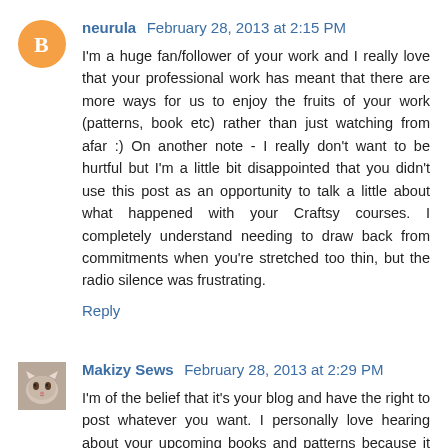neurula February 28, 2013 at 2:15 PM
I'm a huge fan/follower of your work and I really love that your professional work has meant that there are more ways for us to enjoy the fruits of your work (patterns, book etc) rather than just watching from afar :) On another note - I really don't want to be hurtful but I'm a little bit disappointed that you didn't use this post as an opportunity to talk a little about what happened with your Craftsy courses. I completely understand needing to draw back from commitments when you're stretched too thin, but the radio silence was frustrating.
Reply
Makizy Sews February 28, 2013 at 2:29 PM
I'm of the belief that it's your blog and have the right to post whatever you want. I personally love hearing about your upcoming books and patterns because it just means that my sewing options have just expanded! And really, who